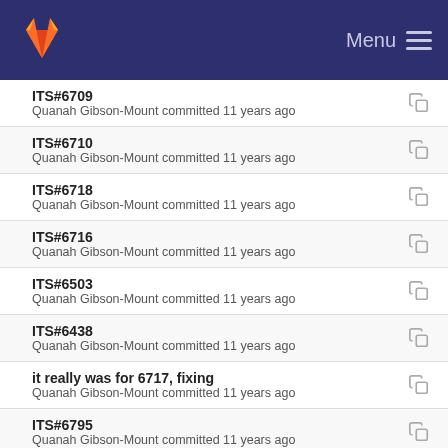GitLab Menu
ITS#6709
Quanah Gibson-Mount committed 11 years ago
ITS#6710
Quanah Gibson-Mount committed 11 years ago
ITS#6718
Quanah Gibson-Mount committed 11 years ago
ITS#6716
Quanah Gibson-Mount committed 11 years ago
ITS#6503
Quanah Gibson-Mount committed 11 years ago
ITS#6438
Quanah Gibson-Mount committed 11 years ago
it really was for 6717, fixing
Quanah Gibson-Mount committed 11 years ago
ITS#6795
Quanah Gibson-Mount committed 11 years ago